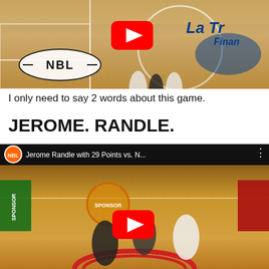[Figure (screenshot): YouTube video thumbnail showing an NBL basketball game with players running on court, YouTube play button overlay, NBL logo on court floor, La Trobe Finance branding visible]
I only need to say 2 words about this game.
JEROME. RANDLE.
[Figure (screenshot): YouTube video thumbnail showing NBL highlight video titled 'Jerome Randle with 29 Points vs. N...' with basketball hoop view from above, players on court, YouTube play button overlay]